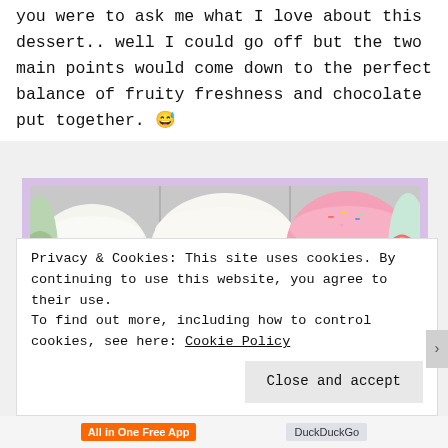you were to ask me what I love about this dessert.. well I could go off but the two main points would come down to the perfect balance of fruity freshness and chocolate put together. 😅
[Figure (photo): A photo of colorful French macarons arranged on a wire rack. The macarons include white, pink, and light blue varieties, some decorated with gold flakes, sprinkles, rainbow designs, and hearts.]
Privacy & Cookies: This site uses cookies. By continuing to use this website, you agree to their use.
To find out more, including how to control cookies, see here: Cookie Policy
Close and accept
All in One Free App   DuckDuckGo